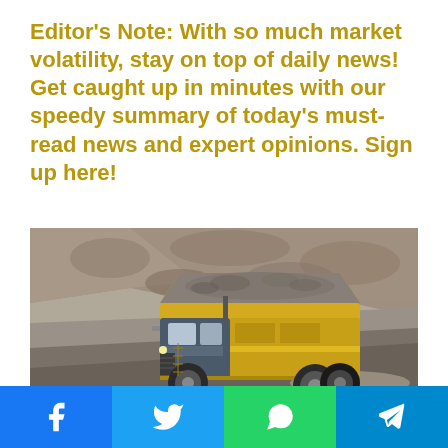Editor's Note: With so much market volatility, stay on top of daily news! Get caught up in minutes with our speedy summary of today's must-read news and expert opinions. Sign up here!
[Figure (photo): A large yellow mining dump truck loaded with rocks/ore driving on a dirt road at an open-pit mine site, with rocky terrain and hillside in the background.]